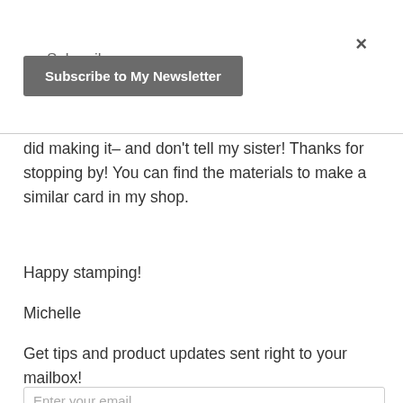×
Subscribe
Subscribe to My Newsletter
did making it– and don't tell my sister! Thanks for stopping by! You can find the materials to make a similar card in my shop.
Happy stamping!
Michelle
Get tips and product updates sent right to your mailbox!
Enter your email